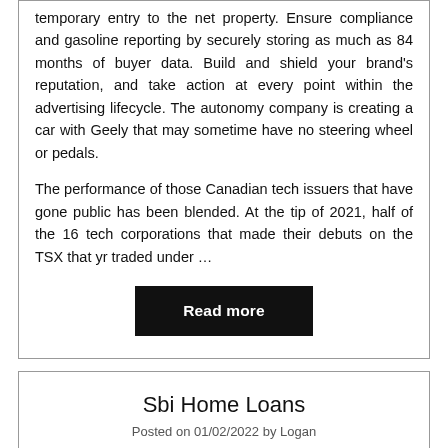temporary entry to the net property. Ensure compliance and gasoline reporting by securely storing as much as 84 months of buyer data. Build and shield your brand's reputation, and take action at every point within the advertising lifecycle. The autonomy company is creating a car with Geely that may sometime have no steering wheel or pedals.
The performance of those Canadian tech issuers that have gone public has been blended. At the tip of 2021, half of the 16 tech corporations that made their debuts on the TSX that yr traded under …
Read more
Sbi Home Loans
Posted on 01/02/2022 by Logan